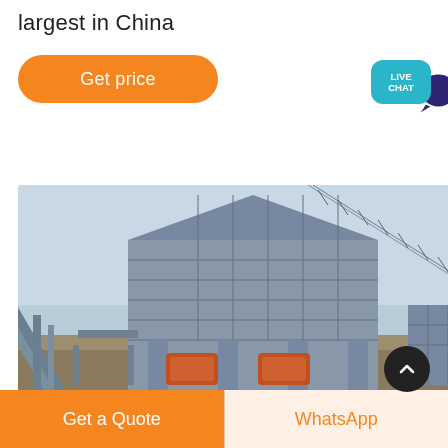largest in China
Get price
[Figure (other): Live chat widget with teal speech bubble labeled LIVE CHAT and dark purple chat icon]
[Figure (photo): Industrial facility in China showing a large steel-framed building structure (crushing or screening plant) with conveyor belts on both sides, set against a blue sky with arid landscape in the background. Multiple machines visible at ground level beneath the structure.]
Get a Quote
WhatsApp